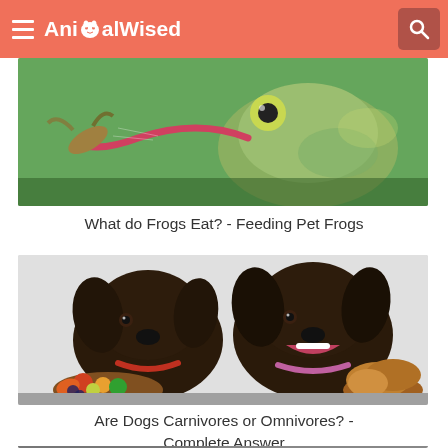AnimalWised
[Figure (photo): A frog catching a small bird/insect with its tongue, close-up action shot on green background]
What do Frogs Eat? - Feeding Pet Frogs
[Figure (photo): Two dark brown/chocolate Labrador dogs, one looking at a pile of vegetables and fruits, another looking at fried chicken, on white background]
Are Dogs Carnivores or Omnivores? - Complete Answer
[Figure (photo): Partial view of a third article image, cut off at bottom of page]